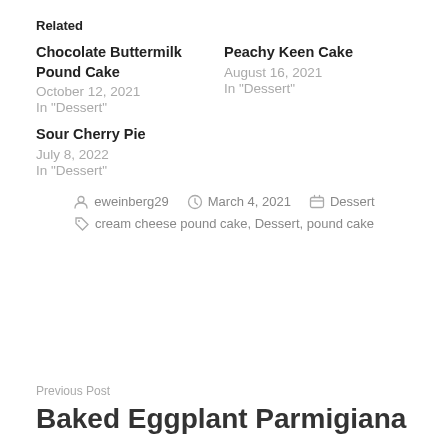Related
Chocolate Buttermilk Pound Cake
October 12, 2021
In "Dessert"
Peachy Keen Cake
August 16, 2021
In "Dessert"
Sour Cherry Pie
July 8, 2022
In "Dessert"
eweinberg29   March 4, 2021   Dessert
cream cheese pound cake, Dessert, pound cake
Previous Post
Baked Eggplant Parmigiana